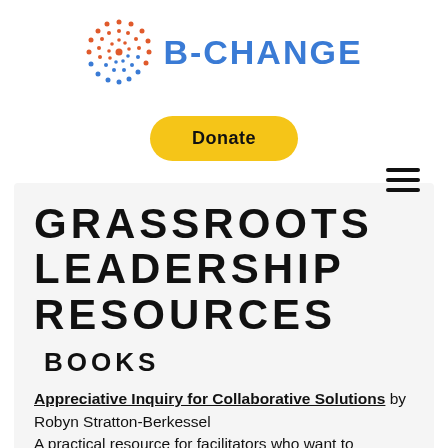[Figure (logo): B-CHANGE logo with circular spiral icon in orange/red/blue dots and the text B-CHANGE in blue bold letters]
[Figure (other): Yellow rounded Donate button]
[Figure (other): Hamburger menu icon (three horizontal lines)]
GRASSROOTS LEADERSHIP RESOURCES
BOOKS
Appreciative Inquiry for Collaborative Solutions by Robyn Stratton-Berkessel A practical resource for facilitators who want to introduce positive, strength-based perspectives into their work and trainings